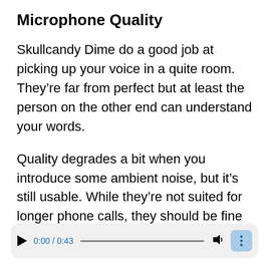Microphone Quality
Skullcandy Dime do a good job at picking up your voice in a quite room. They’re far from perfect but at least the person on the other end can understand your words.
Quality degrades a bit when you introduce some ambient noise, but it’s still usable. While they’re not suited for longer phone calls, they should be fine for quick replies.
[Figure (other): Audio player widget showing play button, time 0:00 / 0:43, progress bar, volume icon, and menu button]